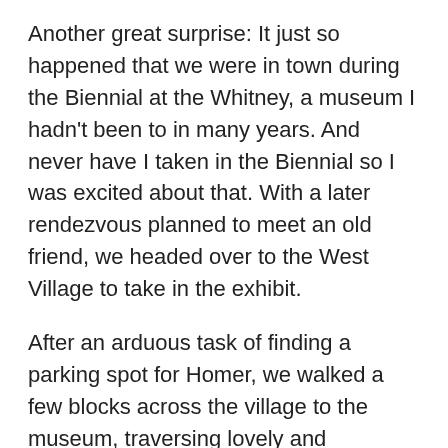Another great surprise: It just so happened that we were in town during the Biennial at the Whitney, a museum I hadn't been to in many years. And never have I taken in the Biennial so I was excited about that. With a later rendezvous planned to meet an old friend, we headed over to the West Village to take in the exhibit.
After an arduous task of finding a parking spot for Homer, we walked a few blocks across the village to the museum, traversing lovely and charming, tree lined back streets with classic brownstones. We happened upon a filming of something on a side street with several onlooker but we were on a mission to get to the Biennial.
The exhibit boasted three floors, including outdoor decks, of art by 75 American artists who are purported to be the